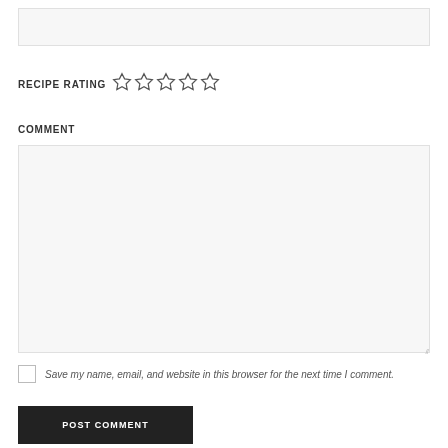[Figure (screenshot): Text input box (empty, light gray background)]
RECIPE RATING ☆☆☆☆☆
COMMENT
[Figure (screenshot): Comment textarea (empty, light gray background with resize handle)]
Save my name, email, and website in this browser for the next time I comment.
POST COMMENT